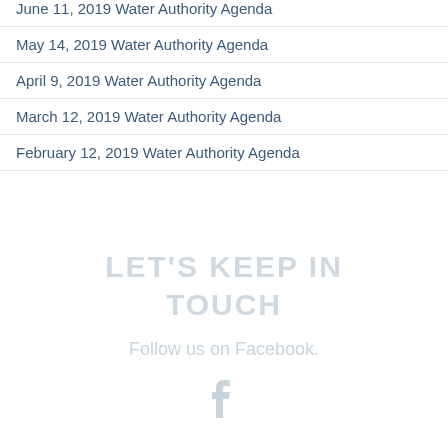June 11, 2019 Water Authority Agenda
May 14, 2019 Water Authority Agenda
April 9, 2019 Water Authority Agenda
March 12, 2019 Water Authority Agenda
February 12, 2019 Water Authority Agenda
LET'S KEEP IN TOUCH
Follow us on Facebook.
[Figure (logo): Facebook logo icon in light grey]